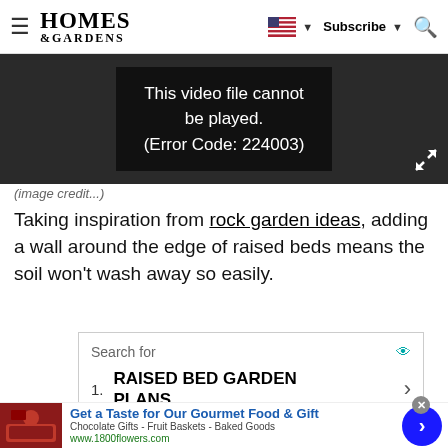Homes & Gardens | Subscribe | Search
[Figure (screenshot): Video player showing error message: This video file cannot be played. (Error Code: 224003)]
Taking inspiration from rock garden ideas, adding a wall around the edge of raised beds means the soil won't wash away so easily.
[Figure (screenshot): Search ad box: Search for - 1. RAISED BED GARDEN PLANS]
[Figure (screenshot): Banner advertisement: Get a Taste for Our Gourmet Food & Gift - Chocolate Gifts - Fruit Baskets - Baked Goods - www.1800flowers.com]